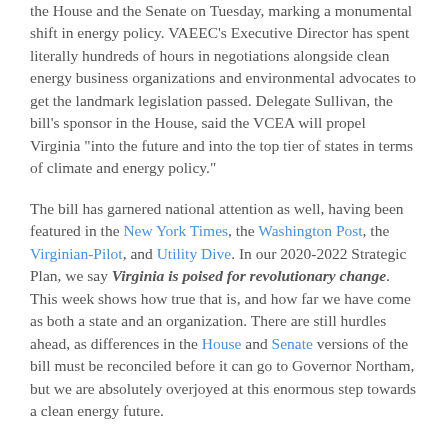the House and the Senate on Tuesday, marking a monumental shift in energy policy. VAEEC's Executive Director has spent literally hundreds of hours in negotiations alongside clean energy business organizations and environmental advocates to get the landmark legislation passed. Delegate Sullivan, the bill's sponsor in the House, said the VCEA will propel Virginia "into the future and into the top tier of states in terms of climate and energy policy."
The bill has garnered national attention as well, having been featured in the New York Times, the Washington Post, the Virginian-Pilot, and Utility Dive. In our 2020-2022 Strategic Plan, we say Virginia is poised for revolutionary change. This week shows how true that is, and how far we have come as both a state and an organization. There are still hurdles ahead, as differences in the House and Senate versions of the bill must be reconciled before it can go to Governor Northam, but we are absolutely overjoyed at this enormous step towards a clean energy future.